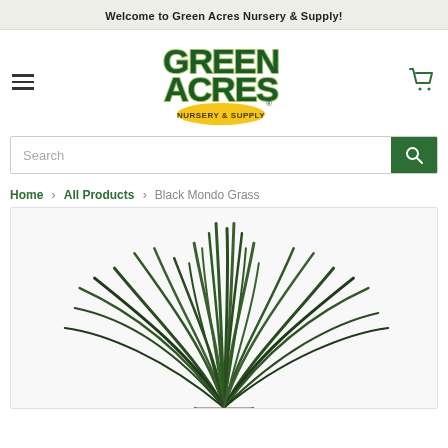Welcome to Green Acres Nursery & Supply!
[Figure (logo): Green Acres Nursery & Supply logo - green bold lettering with yellow oval badge at bottom]
Search
Home > All Products > Black Mondo Grass
[Figure (photo): Photo of Black Mondo Grass plant with dark green grass-like blades fanning outward from a central base]